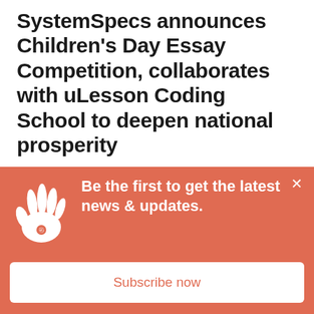SystemSpecs announces Children's Day Essay Competition, collaborates with uLesson Coding School to deepen national prosperity
SystemSpecs announces Children's Day Essay Competition, collaborates with uLesson Coding School to deepen national prosperity LAGOS, NIGERIA. March 21, 2022: SystemSpecs, Africa's leading
[Figure (infographic): Coral/salmon colored popup banner with a white hand/star logo on the left, bold white text 'Be the first to get the latest news & updates.' and a white 'Subscribe now' button at the bottom. A close (×) button is in the top right corner.]